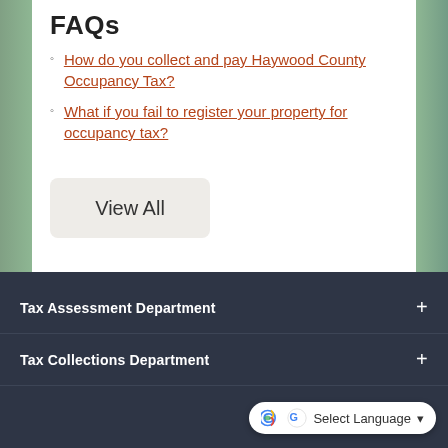FAQs
How do you collect and pay Haywood County Occupancy Tax?
What if you fail to register your property for occupancy tax?
View All
Tax Assessment Department
Tax Collections Department
Land Records / Geographic Information
Select Language